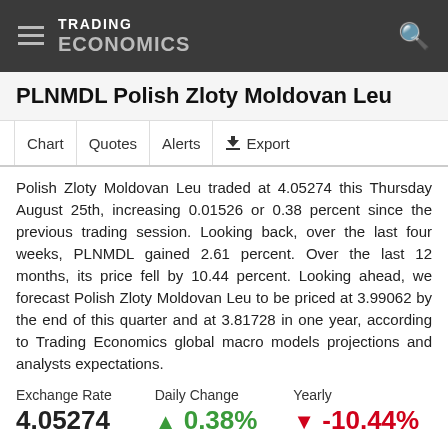TRADING ECONOMICS
PLNMDL Polish Zloty Moldovan Leu
Chart  Quotes  Alerts  Export
Polish Zloty Moldovan Leu traded at 4.05274 this Thursday August 25th, increasing 0.01526 or 0.38 percent since the previous trading session. Looking back, over the last four weeks, PLNMDL gained 2.61 percent. Over the last 12 months, its price fell by 10.44 percent. Looking ahead, we forecast Polish Zloty Moldovan Leu to be priced at 3.99062 by the end of this quarter and at 3.81728 in one year, according to Trading Economics global macro models projections and analysts expectations.
| Exchange Rate | Daily Change | Yearly |
| --- | --- | --- |
| 4.05274 | ▲ 0.38% | ▼ -10.44% |